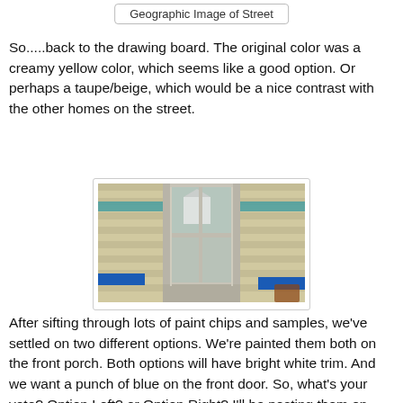Geographic Image of Street
So.....back to the drawing board.  The original color was a creamy yellow color, which seems like a good option.  Or perhaps a taupe/beige, which would be a nice contrast with the other homes on the street.
[Figure (photo): Close-up photo of a house window with horizontal lap siding. Blue painter's tape strips are visible on the siding at top and bottom, showing paint color samples being tested. The window reflects a neighboring white house.]
After sifting through lots of paint chips and samples, we've settled on two different options.  We're painted them both on the front porch.  Both options will have bright white trim.  And we want a punch of blue on the front door.  So, what's your vote?  Option Left?  or Option Right?  I'll be posting them on Facebook as well.  I'd love to hear your input!